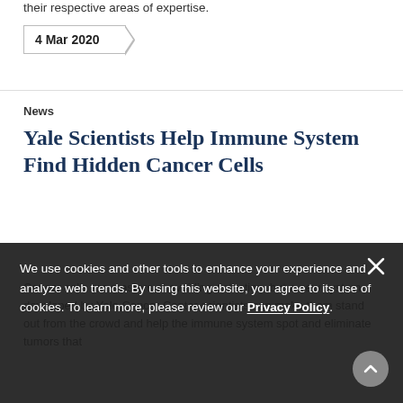their respective areas of expertise.
4 Mar 2020
News
Yale Scientists Help Immune System Find Hidden Cancer Cells
Cancer cells are masters at avoiding detection, but a new system developed by Yale Cancer Center scientists can make them stand out from the crowd and help the immune system spot and eliminate tumors that
We use cookies and other tools to enhance your experience and analyze web trends. By using this website, you agree to its use of cookies. To learn more, please review our Privacy Policy.